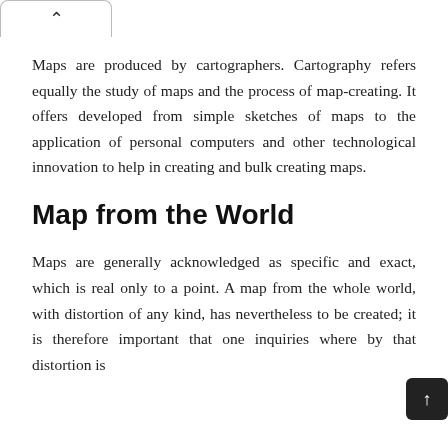^
Maps are produced by cartographers. Cartography refers equally the study of maps and the process of map-creating. It offers developed from simple sketches of maps to the application of personal computers and other technological innovation to help in creating and bulk creating maps.
Map from the World
Maps are generally acknowledged as specific and exact, which is real only to a point. A map from the whole world, with distortion of any kind, has nevertheless to be created; it is therefore important that one inquiries where by that distortion is